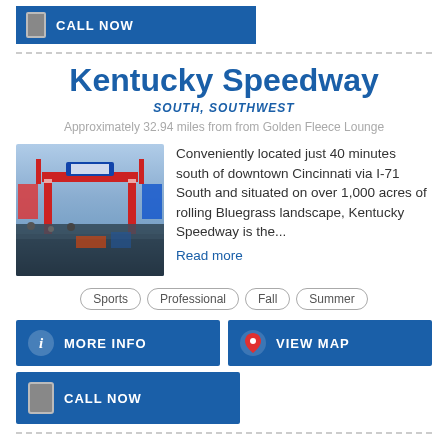[Figure (screenshot): Blue CALL NOW button with phone icon at top]
Kentucky Speedway
SOUTH, SOUTHWEST
Approximately 32.94 miles from from Golden Fleece Lounge
[Figure (photo): Photo of Kentucky Speedway entrance with colorful decorations and signage]
Conveniently located just 40 minutes south of downtown Cincinnati via I-71 South and situated on over 1,000 acres of rolling Bluegrass landscape, Kentucky Speedway is the...
Read more
Sports
Professional
Fall
Summer
[Figure (screenshot): MORE INFO button (blue) with info icon]
[Figure (screenshot): VIEW MAP button (blue) with map pin icon]
[Figure (screenshot): CALL NOW button (blue) with phone icon]